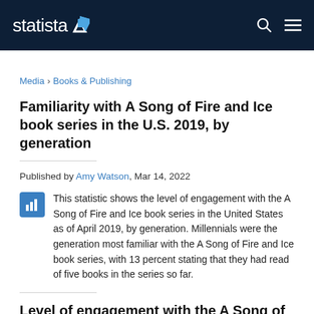statista
Media › Books & Publishing
Familiarity with A Song of Fire and Ice book series in the U.S. 2019, by generation
Published by Amy Watson, Mar 14, 2022
This statistic shows the level of engagement with the A Song of Fire and Ice book series in the United States as of April 2019, by generation. Millennials were the generation most familiar with the A Song of Fire and Ice book series, with 13 percent stating that they had read of five books in the series so far.
Level of engagement with the A Song of Fire